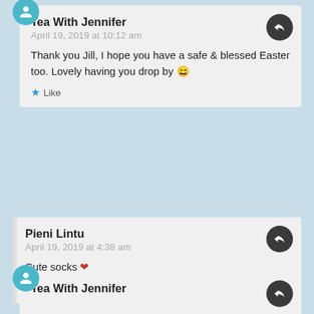Tea With Jennifer
April 19, 2019 at 10:12 am
Thank you Jill, I hope you have a safe & blessed Easter too. Lovely having you drop by 😀
★ Like
Pieni Lintu
April 19, 2019 at 4:38 am
Cute socks ❤
★ Liked by 1 person
Tea With Jennifer